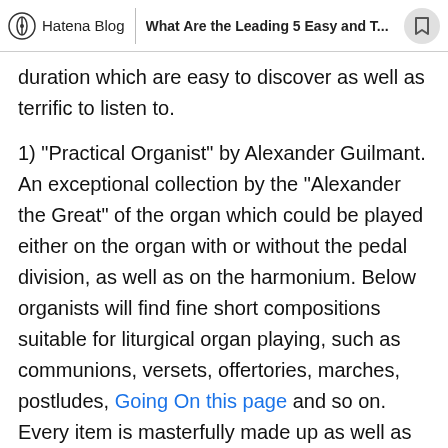Hatena Blog | What Are the Leading 5 Easy and T...
duration which are easy to discover as well as terrific to listen to.
1) "Practical Organist" by Alexander Guilmant. An exceptional collection by the "Alexander the Great" of the organ which could be played either on the organ with or without the pedal division, as well as on the harmonium. Below organists will find fine short compositions suitable for liturgical organ playing, such as communions, versets, offertories, marches, postludes, Going On this page and so on. Every item is masterfully made up as well as could also be used for recitals. Perfect as a prep work for advanced organ sonatas by Guilmant.
This collection has 7 collections of 7 pieces each meant to play on the body organ or harmonium. Perfect as a